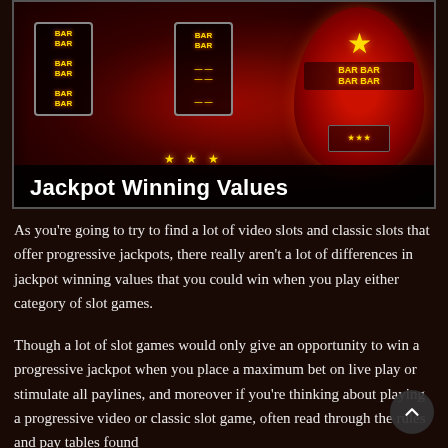[Figure (photo): Close-up photo of red slot machine reels with BAR symbols, stars, and glowing lights in dark red tones]
Jackpot Winning Values
As you're going to try to find a lot of video slots and classic slots that offer progressive jackpots, there really aren't a lot of differences in jackpot winning values that you could win when you play either category of slot games.
Though a lot of slot games would only give an opportunity to win a progressive jackpot when you place a maximum bet on live play or stimulate all paylines, and moreover if you're thinking about playing a progressive video or classic slot game, often read through the rules and pay tables found